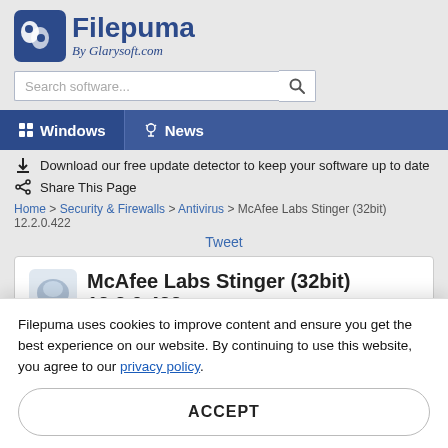[Figure (logo): Filepuma logo with blue puma icon and text 'Filepuma By Glarysoft.com']
Search software...
Windows  News
Download our free update detector to keep your software up to date
Share This Page
Home > Security & Firewalls > Antivirus > McAfee Labs Stinger (32bit) 12.2.0.422
Tweet
McAfee Labs Stinger (32bit) 12.2.0.422
Filepuma uses cookies to improve content and ensure you get the best experience on our website. By continuing to use this website, you agree to our privacy policy.
ACCEPT